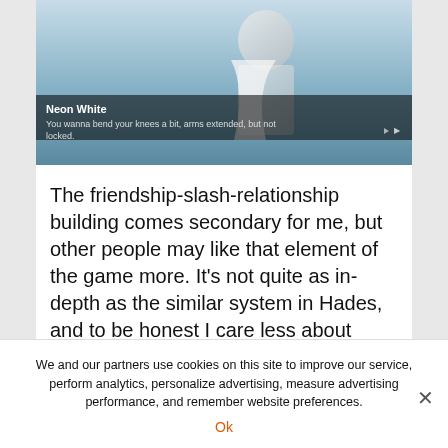[Figure (screenshot): Screenshot from the video game Neon White showing an anime-style character in action. A dark subtitle bar shows the character name 'Neon White' and dialogue text 'You wanna bend your knees a bit, arms extended, but not locked.']
The friendship-slash-relationship building comes secondary for me, but other people may like that element of the game more. It's not quite as in-depth as the similar system in Hades, and to be honest I care less about some of the characters. Maybe leveling them up would change that, but I showered the majority of my gifts on Neon Red and left slim
We and our partners use cookies on this site to improve our service, perform analytics, personalize advertising, measure advertising performance, and remember website preferences.
Ok